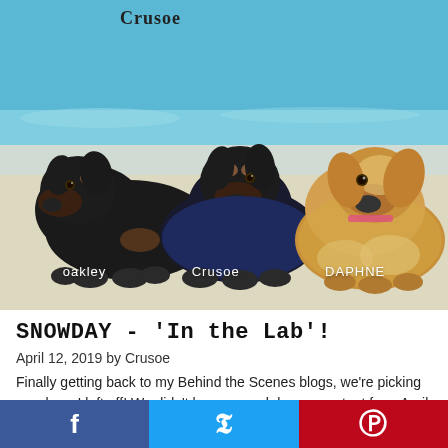[Figure (photo): Three dachshund dogs lying on a white sandy beach with turquoise water behind them. Left dog is black and tan (Oakley), middle dog is black and tan wearing a dark sweater (Crusoe), right dog is golden/cream colored (Daphne). Labels 'oakley', 'Crusoe', 'Daphne' appear below each dog. A 'Crusoe' watermark logo appears in the top center.]
SNOWDAY - 'In the Lab'!
April 12, 2019 by Crusoe
Finally getting back to my Behind the Scenes blogs, we're picking up where I left off! We didn't have enough bonus content from April Fools video & Oakley's vlog,